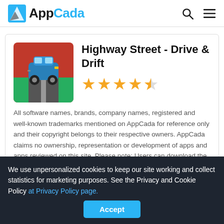AppCada
Highway Street - Drive & Drift
[Figure (illustration): App icon for Highway Street - Drive & Drift showing a blue car on a road with red and green background]
All software names, brands, company names, registered and well-known trademarks mentioned on AppCada for reference only and their copyright belongs to their respective owners. AppCada claims no ownership, representation or development of apps and apps reviewed on this site. Please note: Users can download the app from the links following the Official Website and legal App Stores.
We use unpersonalized cookies to keep our site working and collect statistics for marketing purposes. See the Privacy and Cookie Policy at Privacy Policy page.